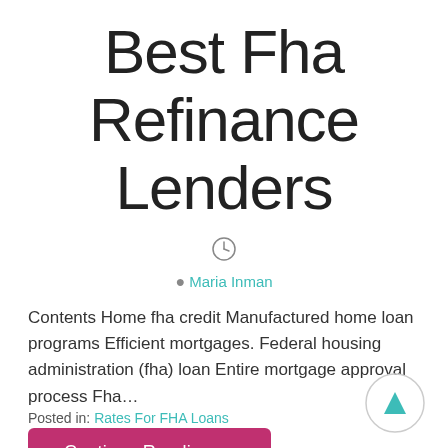Best Fha Refinance Lenders
Maria Inman
Contents Home fha credit Manufactured home loan programs Efficient mortgages. Federal housing administration (fha) loan Entire mortgage approval process Fha…
Continue Reading →
Posted in: Rates For FHA Loans